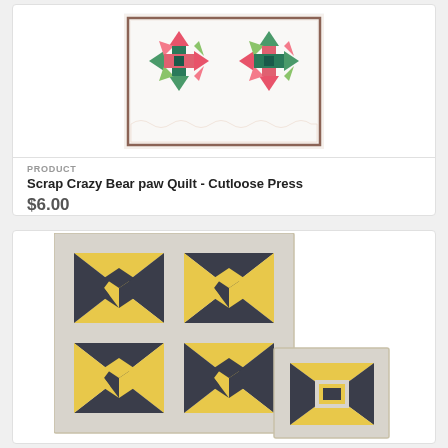[Figure (photo): Scrap Crazy Bear paw Quilt with colorful floral patchwork star blocks on white background]
PRODUCT
Scrap Crazy Bear paw Quilt - Cutloose Press
$6.00
[Figure (photo): Yellow and dark gray geometric pinwheel/star pattern quilt with matching smaller quilt piece on light gray background]